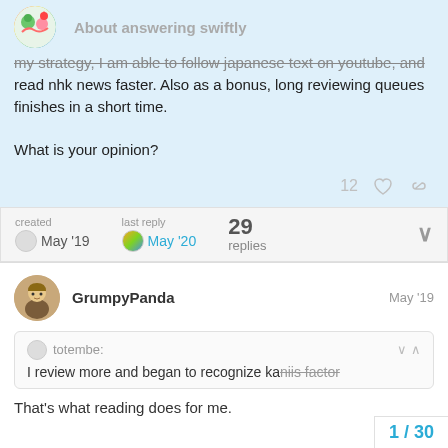About answering swiftly
my strategy, I am able to follow japanese text on youtube, and read nhk news faster. Also as a bonus, long reviewing queues finishes in a short time.

What is your opinion?
12
created May '19  last reply May '20  29 replies
GrumpyPanda  May '19
totembe:
I review more and began to recognize kanjis faster.
That's what reading does for me.
1 / 30